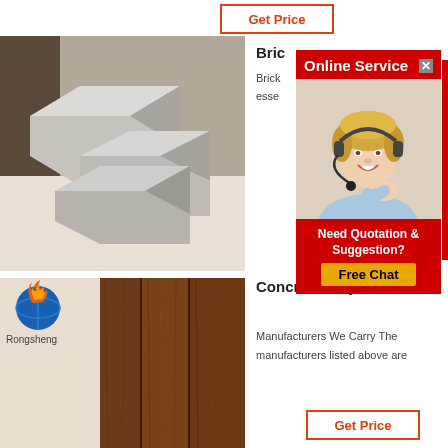Get Price
[Figure (photo): Photo of light gray/white refractory brick wedge shapes stacked on a light wood surface in an indoor setting]
Bric...
Brick... esse...
[Figure (screenshot): Online Service chat popup with red header, female customer service agent with headset, 'Need Quotation & Suggestion?' section, and 'Free Chat' yellow button]
[Figure (photo): Photo of dark wood-grain floor/wall tiles shown vertically, with Rongsheng logo in top left corner]
Concrete Clay Roof Tiles
Manufacturers We Carry The manufacturers listed above are
Get Price